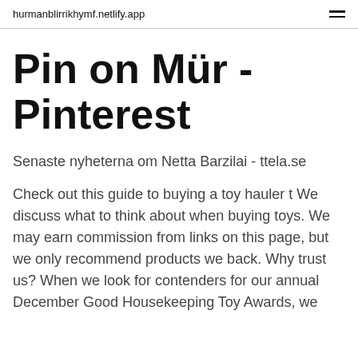hurmanblirrikhymf.netlify.app
Pin on Mür - Pinterest
Senaste nyheterna om Netta Barzilai - ttela.se
Check out this guide to buying a toy hauler t We discuss what to think about when buying toys. We may earn commission from links on this page, but we only recommend products we back. Why trust us? When we look for contenders for our annual December Good Housekeeping Toy Awards, we